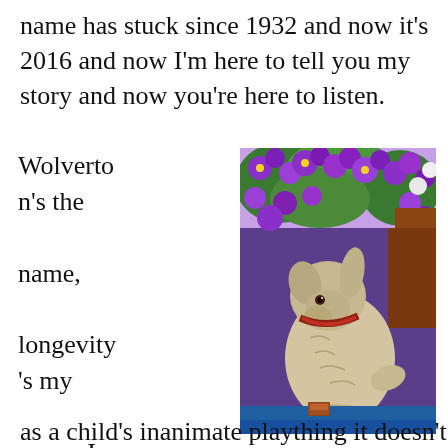name has stuck since 1932 and now it's 2016 and now I'm here to tell you my story and now you're here to listen.
Wolverton's the name, longevity's my game. I can tell you this, if you want to stick around
[Figure (photo): A ceramic or stone dog figurine sitting upright, surrounded by bright purple petunia flowers. The figurine is light beige/cream colored and wears a collar. It sits on what appears to be a blue surface with a small book or object in front of it.]
as a child's inanimate plaything it doesn't hurt